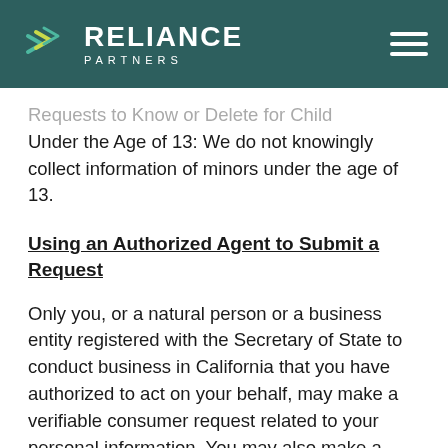RELIANCE PARTNERS
Requests to Know or Delete for Child Under the Age of 13: We do not knowingly collect information of minors under the age of 13.
Using an Authorized Agent to Submit a Request
Only you, or a natural person or a business entity registered with the Secretary of State to conduct business in California that you have authorized to act on your behalf, may make a verifiable consumer request related to your personal information. You may also make a verifiable